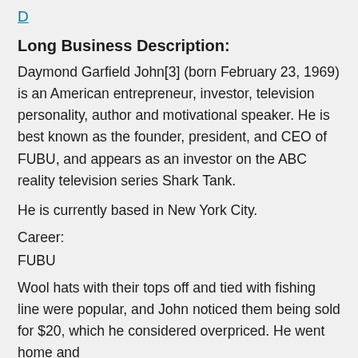D
Long Business Description:
Daymond Garfield John[3] (born February 23, 1969) is an American entrepreneur, investor, television personality, author and motivational speaker. He is best known as the founder, president, and CEO of FUBU, and appears as an investor on the ABC reality television series Shark Tank.
He is currently based in New York City.
Career:
FUBU
Wool hats with their tops off and tied with fishing line were popular, and John noticed them being sold for $20, which he considered overpriced. He went home and